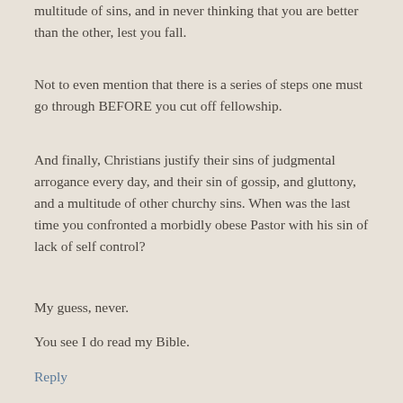multitude of sins, and in never thinking that you are better than the other, lest you fall.
Not to even mention that there is a series of steps one must go through BEFORE you cut off fellowship.
And finally, Christians justify their sins of judgmental arrogance every day, and their sin of gossip, and gluttony, and a multitude of other churchy sins. When was the last time you confronted a morbidly obese Pastor with his sin of lack of self control?
My guess, never.
You see I do read my Bible.
Reply